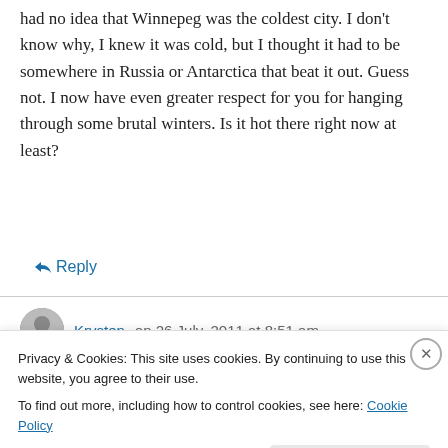had no idea that Winnepeg was the coldest city. I don't know why, I knew it was cold, but I thought it had to be somewhere in Russia or Antarctica that beat it out. Guess not. I now have even greater respect for you for hanging through some brutal winters. Is it hot there right now at least?
↪ Reply
Krysten on 26 July, 2011 at 8:51 am
Privacy & Cookies: This site uses cookies. By continuing to use this website, you agree to their use. To find out more, including how to control cookies, see here: Cookie Policy
Close and accept